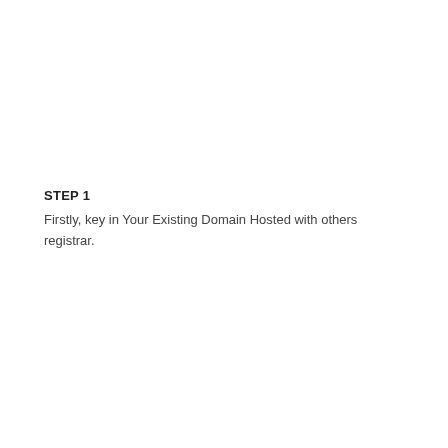STEP 1
Firstly, key in Your Existing Domain Hosted with others registrar.